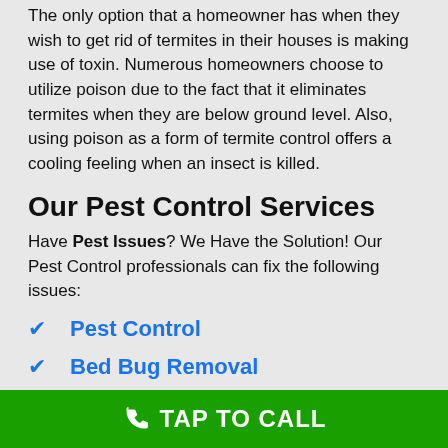The only option that a homeowner has when they wish to get rid of termites in their houses is making use of toxin. Numerous homeowners choose to utilize poison due to the fact that it eliminates termites when they are below ground level. Also, using poison as a form of termite control offers a cooling feeling when an insect is killed.
Our Pest Control Services
Have Pest Issues? We Have the Solution! Our Pest Control professionals can fix the following issues:
Pest Control
Bed Bug Removal
Ant Control
Cockroach Control
Mosquito Control
TAP TO CALL